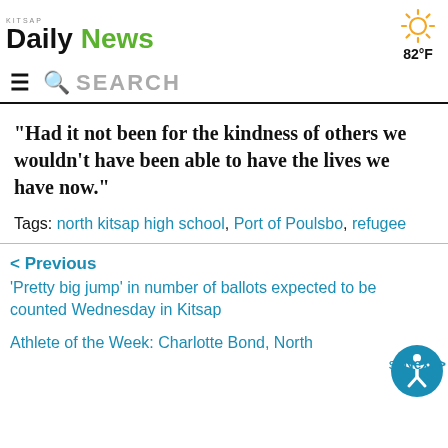KITSAP Daily News
82°F
SEARCH
“Had it not been for the kindness of others we wouldn’t have been able to have the lives we have now.”
Tags: north kitsap high school, Port of Poulsbo, refugee
< Previous
'Pretty big jump' in number of ballots expected to be counted Wednesday in Kitsap
Next >
Athlete of the Week: Charlotte Bond, North soccer